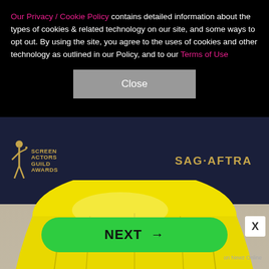Our Privacy / Cookie Policy contains detailed information about the types of cookies & related technology on our site, and some ways to opt out. By using the site, you agree to the uses of cookies and other technology as outlined in our Policy, and to our Terms of Use
[Figure (screenshot): A cookie/privacy policy banner overlay on top of a photo showing a yellow fabric/cloth draped in front of a SAG-AFTRA Screen Actors Guild Awards backdrop banner. A Close button appears in the center of the black banner. An X button appears in the top right of the photo area. A green NEXT → button appears at the bottom.]